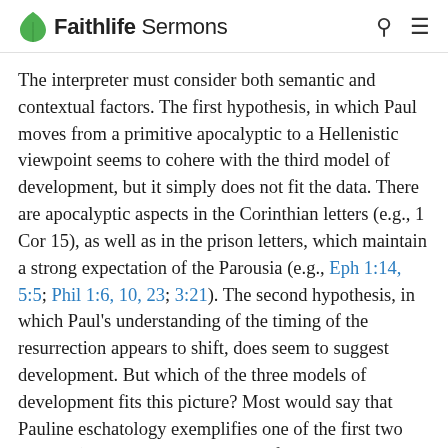Faithlife Sermons
The interpreter must consider both semantic and contextual factors. The first hypothesis, in which Paul moves from a primitive apocalyptic to a Hellenistic viewpoint seems to cohere with the third model of development, but it simply does not fit the data. There are apocalyptic aspects in the Corinthian letters (e.g., 1 Cor 15), as well as in the prison letters, which maintain a strong expectation of the Parousia (e.g., Eph 1:14, 5:5; Phil 1:6, 10, 23; 3:21). The second hypothesis, in which Paul’s understanding of the timing of the resurrection appears to shift, does seem to suggest development. But which of the three models of development fits this picture? Most would say that Pauline eschatology exemplifies one of the first two models (either a new explication of a basic truth or an organic development of thought), for resurrection at death and at the Parousia are